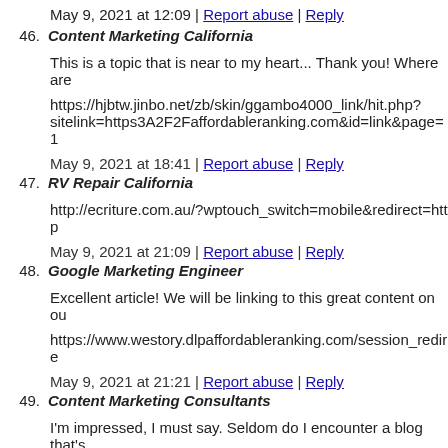May 9, 2021 at 12:09 | Report abuse | Reply
46. Content Marketing California
This is a topic that is near to my heart... Thank you! Where are
https://hjbtw.jinbo.net/zb/skin/ggambo4000_link/hit.php?sitelink=https3A2F2Faffordableranking.com&id=link&page=1
May 9, 2021 at 18:41 | Report abuse | Reply
47. RV Repair California
http://ecriture.com.au/?wptouch_switch=mobile&redirect=http
May 9, 2021 at 21:09 | Report abuse | Reply
48. Google Marketing Engineer
Excellent article! We will be linking to this great content on ou
https://www.westory.dlpaffordableranking.com/session_redire
May 9, 2021 at 21:21 | Report abuse | Reply
49. Content Marketing Consultants
I'm impressed, I must say. Seldom do I encounter a blog that's problem is something that not enough people are speaking inte